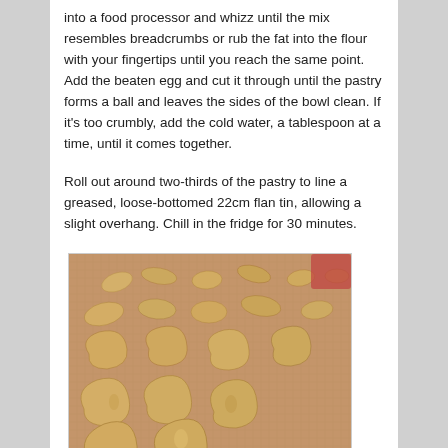into a food processor and whizz until the mix resembles breadcrumbs or rub the fat into the flour with your fingertips until you reach the same point. Add the beaten egg and cut it through until the pastry forms a ball and leaves the sides of the bowl clean. If it's too crumbly, add the cold water, a tablespoon at a time, until it comes together.
Roll out around two-thirds of the pastry to line a greased, loose-bottomed 22cm flan tin, allowing a slight overhang. Chill in the fridge for 30 minutes.
[Figure (photo): Photo of shaped raw pastry pieces (teardrop/comma shapes) laid out on a baking mat, golden/tan colored dough.]